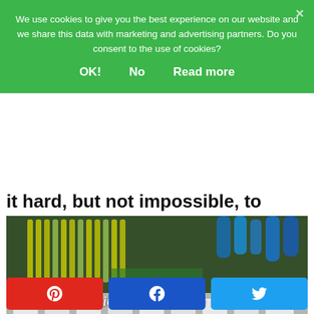We use cookies to give you the best experience on our website and we share this data with marketing and advertising partners. Do you consent to the use of cookies?
OK!   No   Read more
it hard, but not impossible, to separate our work from our downtime.
[Figure (photo): Photo of electrical wiring/cables and circuit breakers with overlay text reading 'Resolution 5: Wind Down Routine']
Share buttons: Pinterest, Facebook, Twitter